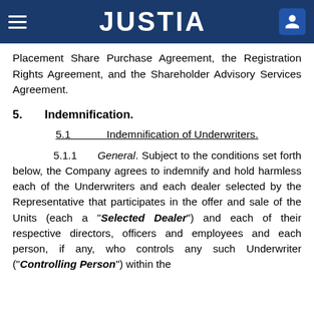JUSTIA
Placement Share Purchase Agreement, the Registration Rights Agreement, and the Shareholder Advisory Services Agreement.
5. Indemnification.
5.1 Indemnification of Underwriters.
5.1.1 General. Subject to the conditions set forth below, the Company agrees to indemnify and hold harmless each of the Underwriters and each dealer selected by the Representative that participates in the offer and sale of the Units (each a “Selected Dealer”) and each of their respective directors, officers and employees and each person, if any, who controls any such Underwriter (“Controlling Person”) within the meaning of Section 15 of the Act or Section 20 of the